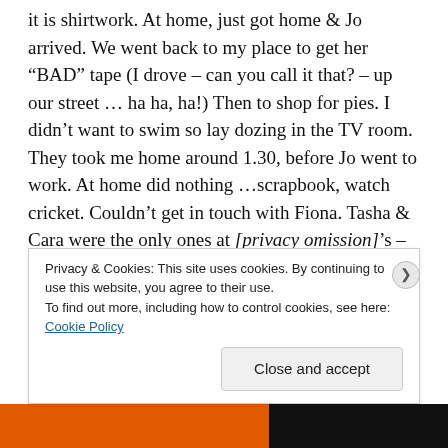it is shirtwork. At home, just got home & Jo arrived. We went back to my place to get her “BAD” tape (I drove – can you call it that? – up our street … ha ha, ha!) Then to shop for pies. I didn’t want to swim so lay dozing in the TV room. They took me home around 1.30, before Jo went to work. At home did nothing …scrapbook, watch cricket. Couldn’t get in touch with Fiona. Tasha & Cara were the only ones at [privacy omission]’s – told me [privacy omission], Sharon & CB caught the 4:00 boat to Fitzroy. That hurt cause I’d seen CB on the way home this morning and had said I’d ring her at 3.30 to arrange the trip & she’d already gone. And when I rang Tasha
Privacy & Cookies: This site uses cookies. By continuing to use this website, you agree to their use.
To find out more, including how to control cookies, see here:
Cookie Policy
Close and accept